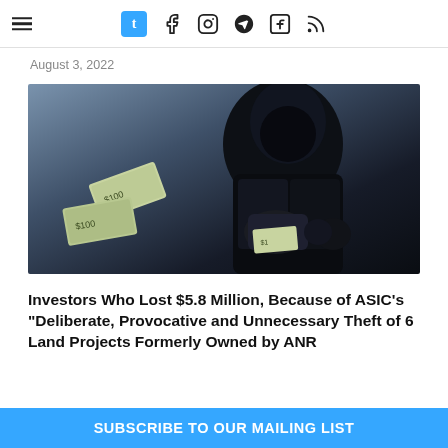t (Tumblr) | Facebook | Instagram | Telegram | LinkedIn | RSS
August 3, 2022
[Figure (photo): Person dressed in black clothing holding a bag with dollar bills scattered around, suggesting theft or financial crime.]
Investors Who Lost $5.8 Million, Because of ASIC’s “Deliberate, Provocative and Unnecessary Theft of 6 Land Projects Formerly Owned by ANR
SUBSCRIBE TO OUR MAILING LIST